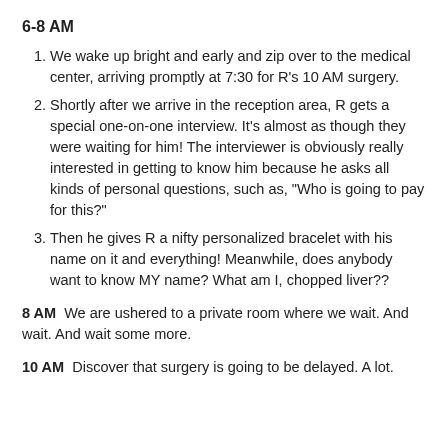6-8 AM
We wake up bright and early and zip over to the medical center, arriving promptly at 7:30 for R’s 10 AM surgery.
Shortly after we arrive in the reception area, R gets a special one-on-one interview. It’s almost as though they were waiting for him! The interviewer is obviously really interested in getting to know him because he asks all kinds of personal questions, such as, “Who is going to pay for this?”
Then he gives R a nifty personalized bracelet with his name on it and everything! Meanwhile, does anybody want to know MY name? What am I, chopped liver??
8 AM  We are ushered to a private room where we wait. And wait. And wait some more.
10 AM  Discover that surgery is going to be delayed. A lot.